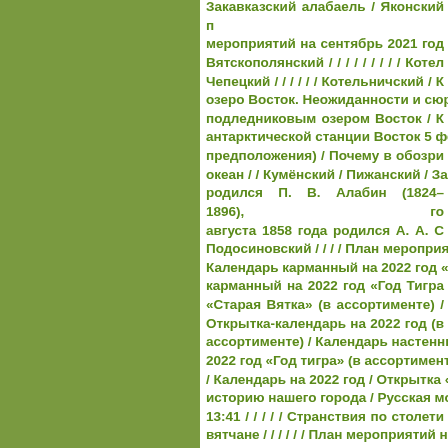[Figure (other): Solid olive/green colored rectangle occupying the left portion of the page]
Закавказский алабаель / Яконский п мероприятий на сентябрь 2021 год Вятскополянский / / / / / / / / / Котел Чепецкий / / / / / / Котельничский / К озеро Восток. Неожиданности и сюр подледниковым озером Восток / К антарктической станции Восток 5 фе предположения) / Почему в обозри океан / / Кумёнский / Пижанский / За родился П. В. Алабин (1824–1896), го августа 1858 года родился А. А. С Подосиновский / / / / План мероприят Календарь карманный на 2022 год «А карманный на 2022 год «Год Тигра «Старая Вятка» (в ассортименте) / Открытка-календарь на 2022 год (в ассортименте) / Календарь настенны 2022 год «Год тигра» (в ассортименте / Календарь на 2022 год / Открытка « историю нашего города / Русская мо 13:41 / / / / / Странствия по столети вятчане / / / / / / План мероприятий на 01.11.21 15:20 / Возраст атмосферне превышать 600 тысяч лет / О Вятке города Кирова / Почему Россия антарктическим озером Восток. Изда подвале сайта / Веб-форма в подв подвале сайта / / / / / / / / / / / / / Заказ от 19:19 / / / / / / / / / / / / / / / Фолькло мероприятий на декабрь 2021 года превратить идею в интеллектуали